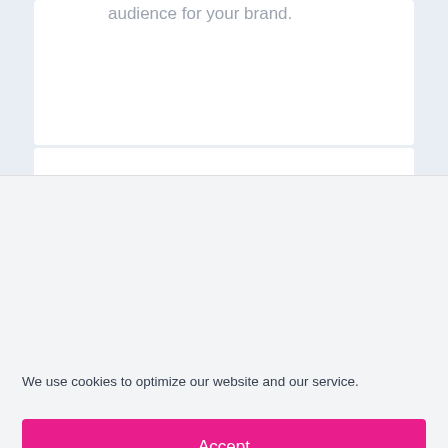audience for your brand.
We use cookies to optimize our website and our service.
Accept
Dismiss
Preferences
Cookie Policy   Privacy Statement